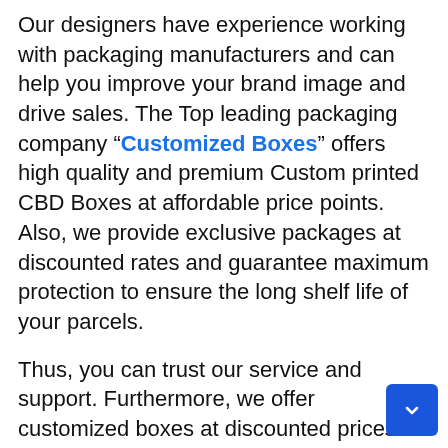Our designers have experience working with packaging manufacturers and can help you improve your brand image and drive sales. The Top leading packaging company “Customized Boxes” offers high quality and premium Custom printed CBD Boxes at affordable price points. Also, we provide exclusive packages at discounted rates and guarantee maximum protection to ensure the long shelf life of your parcels.
Thus, you can trust our service and support. Furthermore, we offer customized boxes at discounted prices on a bulk purchases basis for up to 100% satisfaction.
Our primary focus is on helping your